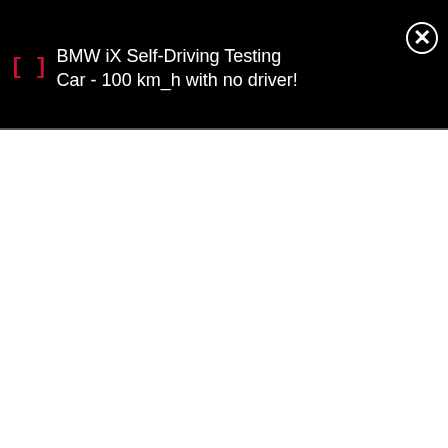[Figure (screenshot): A mobile notification bar with black background showing a notification with a red bracket icon '[]', white text reading 'BMW iX Self-Driving Testing Car - 100 km_h with no driver!', and a white circle X close button on the right. Below is a white empty area.]